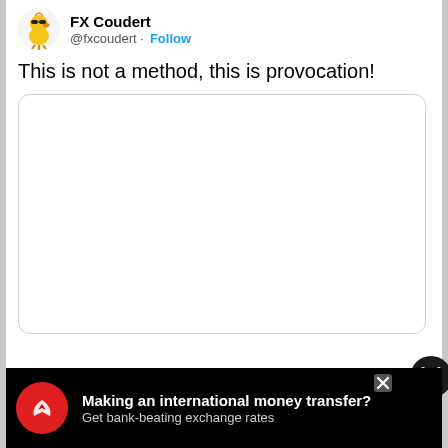FX Coudert @fxcoudert · Follow
This is not a method, this is provocation!
[Figure (other): Embedded white image/content box with rounded border, content not visible]
[Figure (other): Advertisement banner: Making an international money transfer? Get bank-beating exchange rates. Red circular logo with eagle icon.]